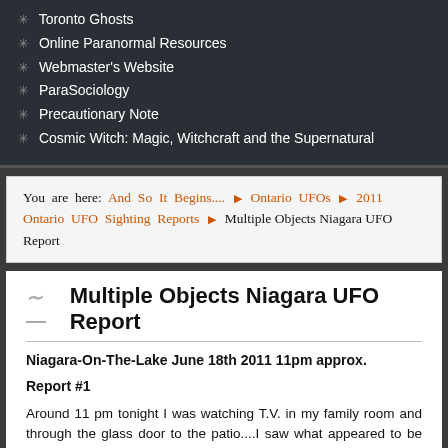Toronto Ghosts
Online Paranormal Resources
Webmaster's Website
ParaSociology
Precautionary Note
Cosmic Witch: Magic, Witchcraft and the Supernatural
You are here: And So It Begins.... ▶ Ontario UFOs ▶ 2011 Ontario UFO Sighting Reports ▶ Multiple Objects Niagara UFO Report
Multiple Objects Niagara UFO Report
Niagara-On-The-Lake June 18th 2011 11pm approx.
Report #1
Around 11 pm tonight I was watching T.V. in my family room and through the glass door to the patio....I saw what appeared to be large red lights flying low over the night sky between the tree's in the garden.. I went outside to see if it was small planes practicing for the air show in Hamilton tomorrow...and thought it a bit strange they would be flying at this time of night.
I watched the lights, maybe 8 to 13 red large lights... move towards